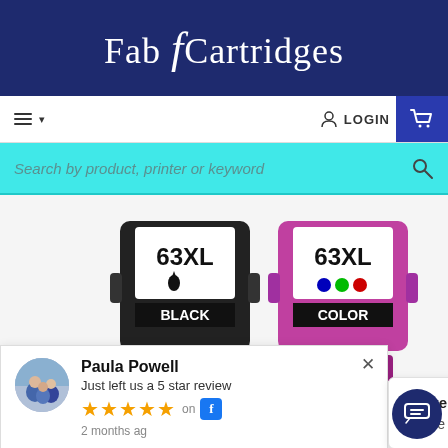Fab f Cartridges
[Figure (screenshot): Navigation bar with hamburger menu, LOGIN button and shopping cart icon]
[Figure (screenshot): Cyan search bar with placeholder: Search by product, printer or keyword]
[Figure (photo): Two HP 63XL ink cartridges — one black, one color (magenta/pink)]
mpatible – for use in
[Figure (screenshot): Review popup: Paula Powell just left a 5 star review, 2 months ago, with star rating and Facebook icon]
[Figure (screenshot): Chat widget bubble: We're offline. Leave a message.]